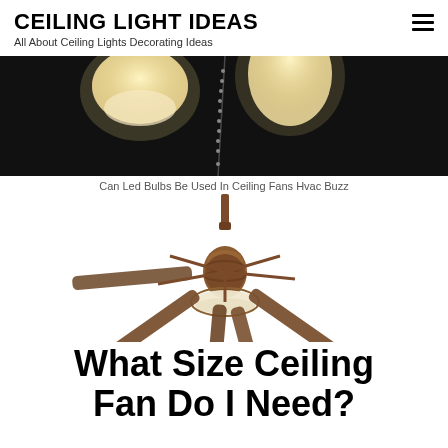CEILING LIGHT IDEAS
All About Ceiling Lights Decorating Ideas
[Figure (photo): Close-up photo of ceiling fan light bulbs glowing against a dark background, with pull chain visible]
Can Led Bulbs Be Used In Ceiling Fans Hvac Buzz
[Figure (photo): A ceiling fan with five dark wood blades and a bowl-shaped light fixture, bronze/copper finish, on white background]
What Size Ceiling Fan Do I Need?